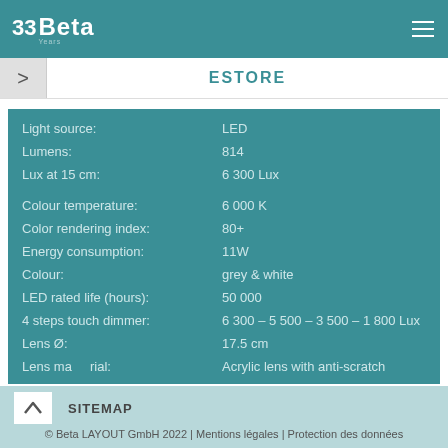33 Beta ESTORE
| Property | Value |
| --- | --- |
| Light source: | LED |
| Lumens: | 814 |
| Lux at 15 cm: | 6 300 Lux |
| Colour temperature: | 6 000 K |
| Color rendering index: | 80+ |
| Energy consumption: | 11W |
| Colour: | grey & white |
| LED rated life (hours): | 50 000 |
| 4 steps touch dimmer: | 6 300 – 5 500 – 3 500 – 1 800 Lux |
| Lens Ø: | 17.5 cm |
| Lens material: | Acrylic lens with anti-scratch |
SITEMAP
© Beta LAYOUT GmbH 2022 | Mentions légales | Protection des données